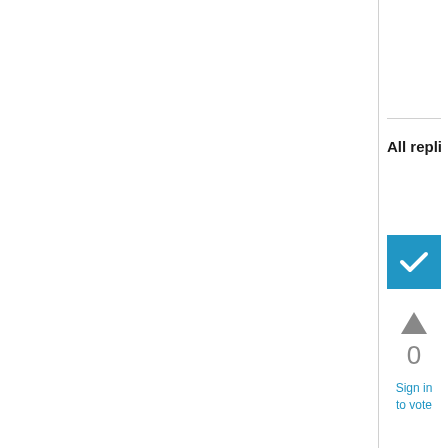All repli
[Figure (other): Blue checkbox with white checkmark icon indicating accepted/answered reply]
[Figure (other): Gray upward-pointing triangle arrow for upvote]
0
Sign in to vote